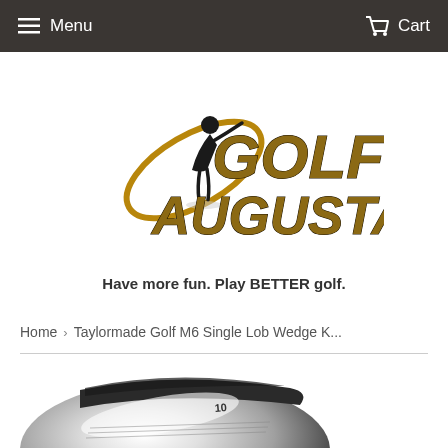Menu   Cart
[Figure (logo): Golf Augusta logo with golfer silhouette and gold/black text]
Have more fun. Play BETTER golf.
Home › Taylormade Golf M6 Single Lob Wedge K...
[Figure (photo): Close-up of a silver/chrome golf wedge club head]